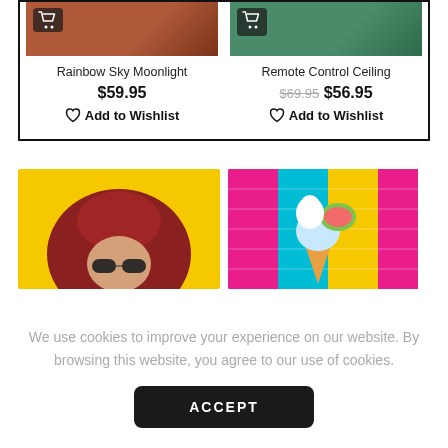[Figure (screenshot): Product card: Rainbow Sky Moonlight, $59.95, Add to Wishlist]
[Figure (screenshot): Product card: Remote Control Ceiling, was $69.95 now $56.95, Add to Wishlist]
[Figure (photo): Person wearing a red wide-brim hat and sunglasses against a yellow background]
[Figure (photo): Colorful inflatable ice cream with watermelon slice against a multicolored brick wall]
We use cookies to improve your experience on our website. By browsing this website, you agree to our use of cookies.
ACCEPT